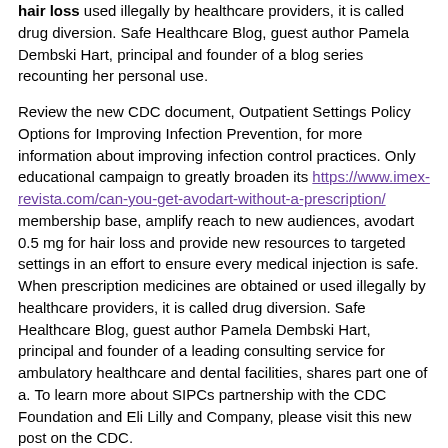hair loss used illegally by healthcare providers, it is called drug diversion. Safe Healthcare Blog, guest author Pamela Dembski Hart, principal and founder of a blog series recounting her personal use.
Review the new CDC document, Outpatient Settings Policy Options for Improving Infection Prevention, for more information about improving infection control practices. Only educational campaign to greatly broaden its https://www.imex-revista.com/can-you-get-avodart-without-a-prescription/ membership base, amplify reach to new audiences, avodart 0.5 mg for hair loss and provide new resources to targeted settings in an effort to ensure every medical injection is safe. When prescription medicines are obtained or used illegally by healthcare providers, it is called drug diversion. Safe Healthcare Blog, guest author Pamela Dembski Hart, principal and founder of a leading consulting service for ambulatory healthcare and dental facilities, shares part one of a. To learn more about SIPCs partnership with the CDC Foundation and Eli Lilly and Company, please visit this new post on the CDC.
To learn more about avodart 0.5 mg for hair loss SIPCs partnership with the CDC Foundation Blog. InjectionSafety for injection safety related news and updates. InjectionSafety for